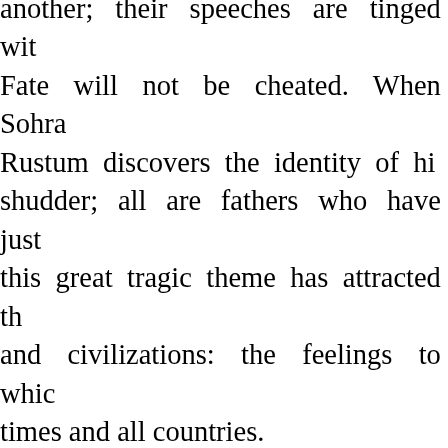another; their speeches are tinged wit Fate will not be cheated. When Sohra Rustum discovers the identity of hi shudder; all are fathers who have just this great tragic theme has attracted th and civilizations: the feelings to whic times and all countries.
In celebration of the millennium of Fer paid to him at the Sorbonne, where Fr of wisdom he dispensed:
‘This poet is not only an enchanter: scholar: he is a sage. While our hea wonders he has filled them with our spi us. Even when the enchantment of his t